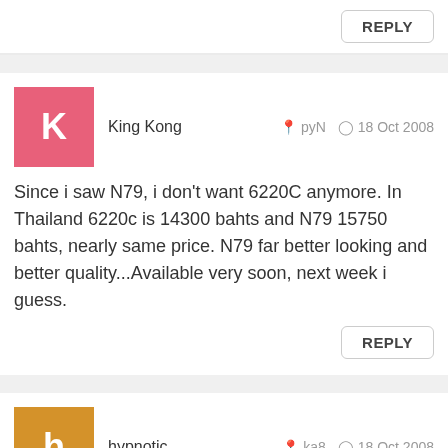REPLY
King Kong   pyN   18 Oct 2008
Since i saw N79, i don't want 6220C anymore. In Thailand 6220c is 14300 bahts and N79 15750 bahts, nearly same price. N79 far better looking and better quality...Available very soon, next week i guess.
REPLY
hypnotic   ka8   18 Oct 2008
this phone looks cheap
REPLY